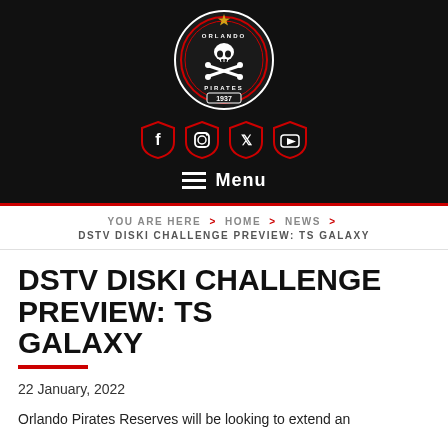[Figure (logo): Orlando Pirates football club crest: black circular badge with skull and crossbones, 1937, red trim, gold star on top]
[Figure (infographic): Four shield-shaped social media icons (Facebook, Instagram, Twitter, YouTube) with red outlines on black background]
Menu
YOU ARE HERE  >  HOME  >  NEWS  >
DSTV DISKI CHALLENGE PREVIEW: TS GALAXY
DSTV DISKI CHALLENGE PREVIEW: TS GALAXY
22 January, 2022
Orlando Pirates Reserves will be looking to extend an